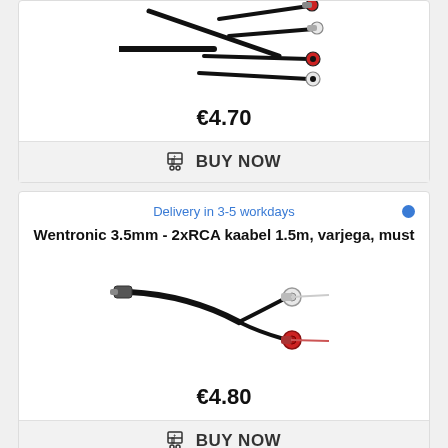[Figure (photo): RCA cable connectors (partial view) - two male RCA plugs, one red and one white, and two female RCA jacks, red and white, on black cables]
€4.70
BUY NOW
Delivery in 3-5 workdays
Wentronic 3.5mm - 2xRCA kaabel 1.5m, varjega, must
[Figure (photo): 3.5mm to 2xRCA cable - 3.5mm stereo jack on one end, two RCA plugs (white and red) on the other end, black cable]
€4.80
BUY NOW
Delivery in 3-5 workdays
Wentronic Adapter RCA (M) - (M)